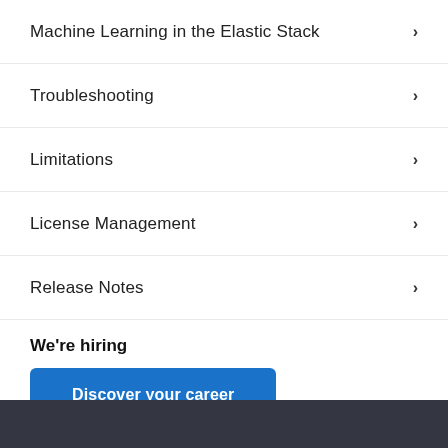Machine Learning in the Elastic Stack ›
Troubleshooting ›
Limitations ›
License Management ›
Release Notes ›
We're hiring
Discover your career